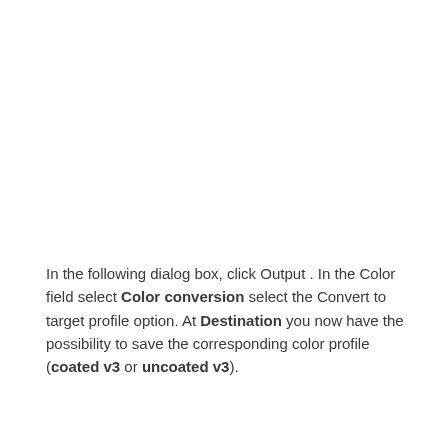In the following dialog box, click Output . In the Color field select Color conversion select the Convert to target profile option. At Destination you now have the possibility to save the corresponding color profile (coated v3 or uncoated v3).